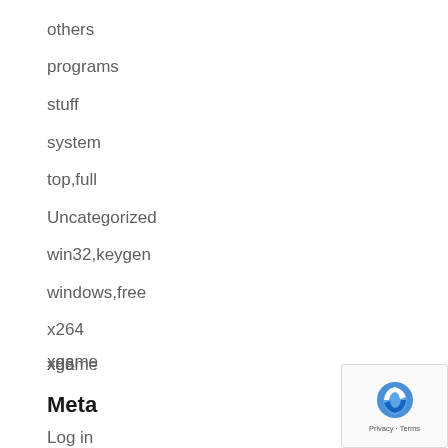others
programs
stuff
system
top,full
Uncategorized
win32,keygen
windows,free
x264
x86
xgame
Meta
Log in